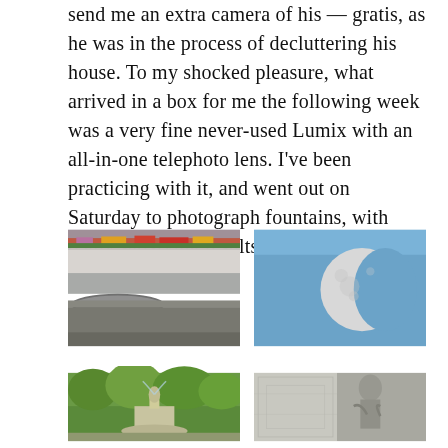send me an extra camera of his — gratis, as he was in the process of decluttering his house. To my shocked pleasure, what arrived in a box for me the following week was a very fine never-used Lumix with an all-in-one telephoto lens. I've been practicing with it, and went out on Saturday to photograph fountains, with really satisfying results.
[Figure (photo): Close-up photograph of a decorative fountain with flowing water, marble basin, and colorful flowers in a planter above]
[Figure (photo): Photograph of the moon against a clear blue sky, showing a gibbous moon phase with visible surface detail]
[Figure (photo): Photograph of a park fountain with a classical statue, surrounded by lush green trees]
[Figure (photo): Photograph of a stone statue or architectural sculpture on a building, appearing to be a classical or historical figure]